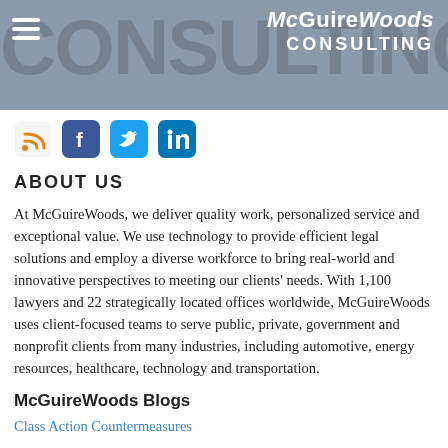[Figure (logo): McGuireWoods Consulting header with gray background, hamburger menu icon, large 'CONSULTING' text watermark, and McGuireWoods Consulting logo in top right]
[Figure (infographic): Social media icons row: RSS feed (orange), Facebook (blue), Twitter (light blue), LinkedIn (blue)]
ABOUT US
At McGuireWoods, we deliver quality work, personalized service and exceptional value. We use technology to provide efficient legal solutions and employ a diverse workforce to bring real-world and innovative perspectives to meeting our clients' needs. With 1,100 lawyers and 22 strategically located offices worldwide, McGuireWoods uses client-focused teams to serve public, private, government and nonprofit clients from many industries, including automotive, energy resources, healthcare, technology and transportation.
McGuireWoods Blogs
Class Action Countermeasures